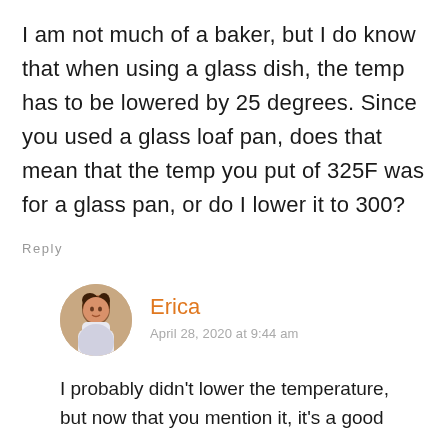I am not much of a baker, but I do know that when using a glass dish, the temp has to be lowered by 25 degrees. Since you used a glass loaf pan, does that mean that the temp you put of 325F was for a glass pan, or do I lower it to 300?
Reply
Erica
April 28, 2020 at 9:44 am
I probably didn't lower the temperature, but now that you mention it, it's a good